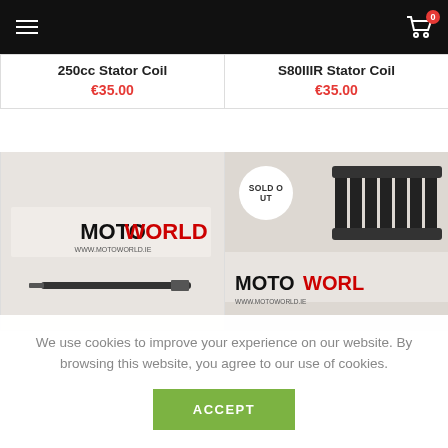Navigation bar with hamburger menu and cart icon showing 0 items
250cc Stator Coil
€35.00
S80IIIR Stator Coil
€35.00
[Figure (photo): Product photo of a metal shaft/pin on MotoWorld branded background]
[Figure (photo): Product photo of a black stator coil on MotoWorld branded background with SOLD OUT badge]
We use cookies to improve your experience on our website. By browsing this website, you agree to our use of cookies.
ACCEPT